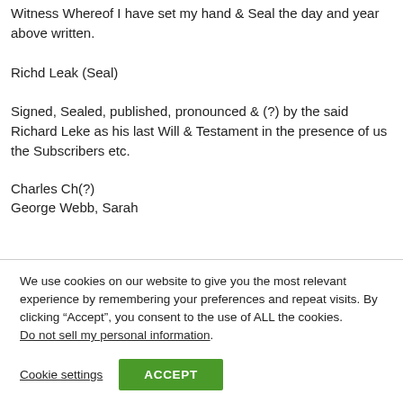Witness Whereof I have set my hand & Seal the day and year above written.
Richd Leak (Seal)
Signed, Sealed, published, pronounced & (?) by the said Richard Leke as his last Will & Testament in the presence of us the Subscribers etc.
Charles Ch(?)
George Webb, Sarah
We use cookies on our website to give you the most relevant experience by remembering your preferences and repeat visits. By clicking “Accept”, you consent to the use of ALL the cookies.
Do not sell my personal information.
Cookie settings
ACCEPT